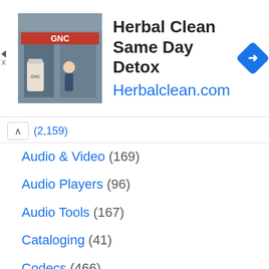[Figure (screenshot): Advertisement banner for Herbal Clean Same Day Detox showing a GNC store photo, product headline text, Herbalclean.com URL in blue, and a blue diamond navigation icon on the right.]
Audio & Video (169)
Audio Players (96)
Audio Tools (167)
Cataloging (41)
Codecs (466)
Converters (48)
Musicians (38)
TV, Radio & Streaming (97)
Video Players (19)
Video Tools (85)
Networking (264)